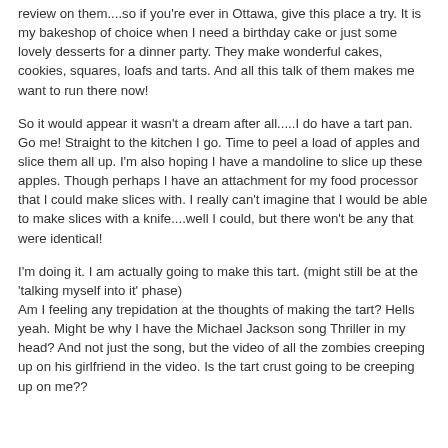review on them....so if you're ever in Ottawa, give this place a try.  It is my bakeshop of choice when I need a birthday cake or just some lovely desserts for a dinner party.   They make wonderful cakes, cookies, squares, loafs and tarts.  And all this talk of them makes me want to run there now!
So it would appear it wasn't a dream after all.....I do have a tart pan.  Go me!  Straight to the kitchen I go.  Time to peel a load of apples and slice them all up.  I'm also hoping I have a mandoline to slice up these apples.  Though perhaps I have an attachment for my food processor that I could make slices with.  I really can't imagine that I would be able to make slices with a knife....well I could, but there won't be any that were identical!
I'm doing it.  I am actually going to make this tart.  (might still be at the 'talking myself into it' phase)
Am I feeling any trepidation at the thoughts of making the tart?  Hells yeah.  Might be why I have the Michael Jackson song Thriller in my head?  And not just the song, but the video of all the zombies creeping up on his girlfriend in the video.  Is the tart crust going to be creeping up on me??